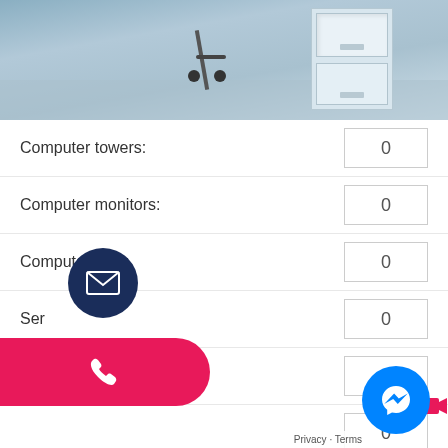[Figure (photo): Office filing cabinet with open drawer and office chair on carpet, blue-tinted photo]
Computer towers: 0
Computer monitors: 0
Computer rack: 0
Servers: 0
Photocopier: 0
[unlabeled field]: 0
Whiteboards: 0